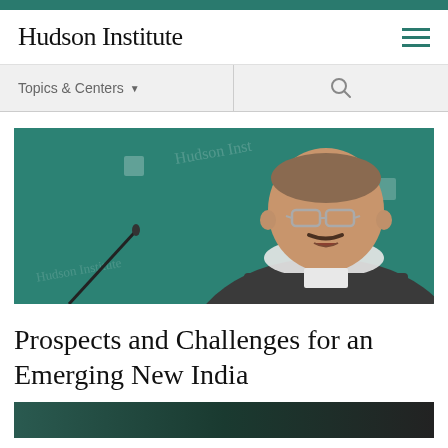Hudson Institute
[Figure (photo): Man in glasses and dark vest speaking at a podium with a microphone, in front of a teal Hudson Institute branded backdrop]
Prospects and Challenges for an Emerging New India
[Figure (photo): Bottom teaser image strip, dark background]